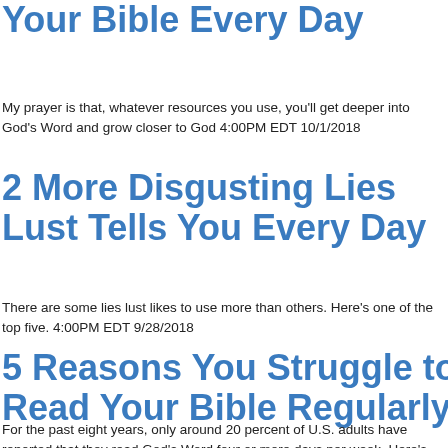5 Tips to Help You Read Your Bible Every Day
My prayer is that, whatever resources you use, you'll get deeper into God's Word and grow closer to God 4:00PM EDT 10/1/2018
2 More Disgusting Lies Lust Tells You Every Day
There are some lies lust likes to use more than others. Here's one of the top five. 4:00PM EDT 9/28/2018
5 Reasons You Struggle to Read Your Bible Regularly
For the past eight years, only around 20 percent of U.S. adults have reported that they read God's Word four or more days per week. Here's why. 4:00PM EDT 9/27/2018